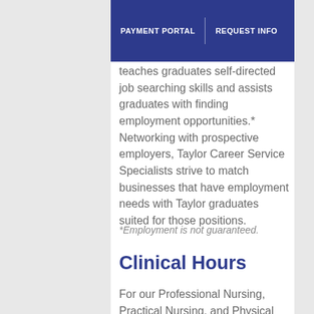PAYMENT PORTAL | REQUEST INFO
teaches graduates self-directed job searching skills and assists graduates with finding employment opportunities.* Networking with prospective employers, Taylor Career Service Specialists strive to match businesses that have employment needs with Taylor graduates suited for those positions.
*Employment is not guaranteed.
Clinical Hours
For our Professional Nursing, Practical Nursing, and Physical Therapist...